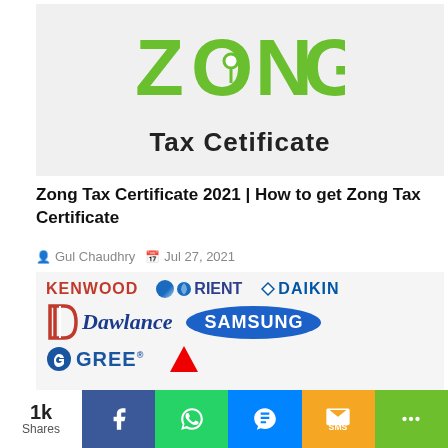[Figure (logo): Zong Tax Certificate logo image with green ZONG wordmark and 'Tax Cetificate' text below on light grey background]
Zong Tax Certificate 2021 | How to get Zong Tax Certificate
Gul Chaudhry  Jul 27, 2021
[Figure (logo): Brand logos collage showing Kenwood, Orient, Daikin, Dawlance, Samsung, Gree and a partial red triangle logo on grey background]
1k Shares
Facebook  WhatsApp  Messenger  SMS  Share